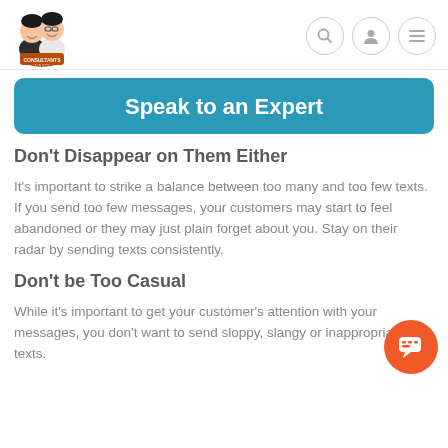[Figure (logo): Consultants In A Box logo with two cartoon characters]
[Figure (illustration): Navigation icons: search (magnifier), user profile, and hamburger menu in circular borders]
Speak to an Expert
Don't Disappear on Them Either
It's important to strike a balance between too many and too few texts. If you send too few messages, your customers may start to feel abandoned or they may just plain forget about you. Stay on their radar by sending texts consistently.
Don't be Too Casual
While it's important to get your customer's attention with your messages, you don't want to send sloppy, slangy or inappropriate texts.
[Figure (illustration): Orange circular chat/messenger button in bottom right corner]